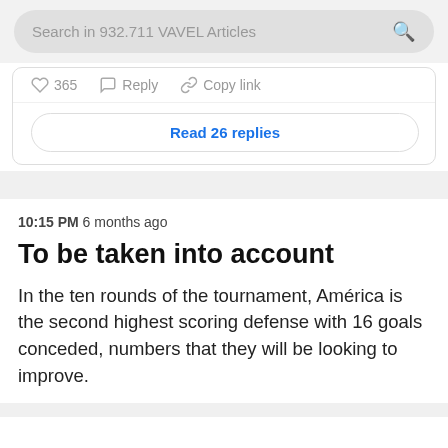Search in 932.711 VAVEL Articles
365  Reply  Copy link
Read 26 replies
10:15 PM  6 months ago
To be taken into account
In the ten rounds of the tournament, América is the second highest scoring defense with 16 goals conceded, numbers that they will be looking to improve.